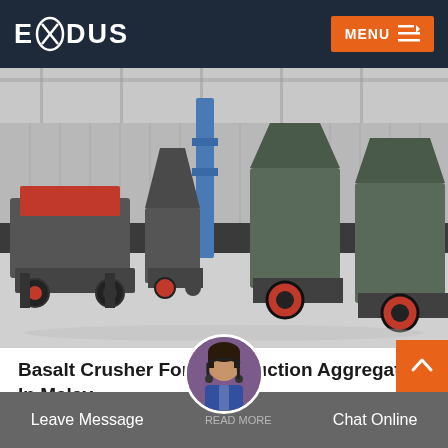EXODUS  MENU
[Figure (photo): Industrial facility interior showing multiple large basalt crusher machines (red and grey) arranged on a concrete floor inside a steel-framed warehouse building.]
Basalt Crusher For Construction Aggregate In Malay...
Road crusher at malaysia crushed basalt stone specifiions for building crusher machine p... 10 malaysia the ingredie...
Leave Message  READ MORE  Chat Online